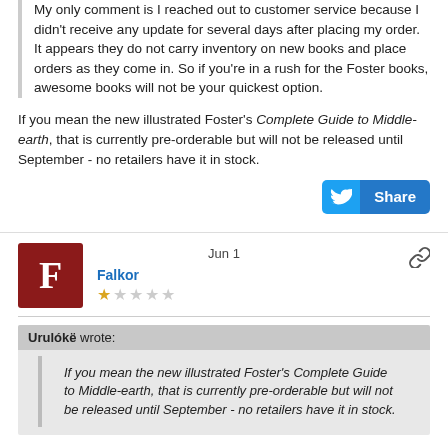My only comment is I reached out to customer service because I didn't receive any update for several days after placing my order. It appears they do not carry inventory on new books and place orders as they come in. So if you're in a rush for the Foster books, awesome books will not be your quickest option.
If you mean the new illustrated Foster's Complete Guide to Middle-earth, that is currently pre-orderable but will not be released until September - no retailers have it in stock.
Jun 1
Falkor
Urulókë wrote:
If you mean the new illustrated Foster's Complete Guide to Middle-earth, that is currently pre-orderable but will not be released until September - no retailers have it in stock.
They did not have UT or NoME in stock and it sounds like they do